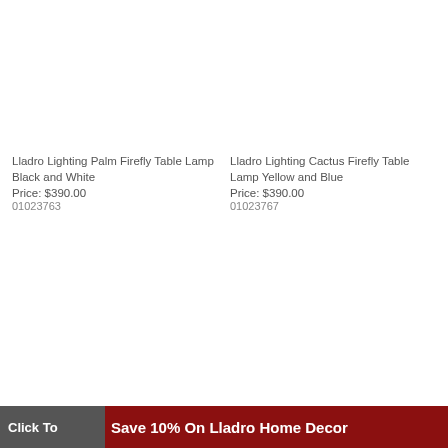Lladro Lighting Palm Firefly Table Lamp Black and White
Price: $390.00
01023763
Lladro Lighting Cactus Firefly Table Lamp Yellow and Blue
Price: $390.00
01023767
Click To Save 10% On Lladro Home Decor